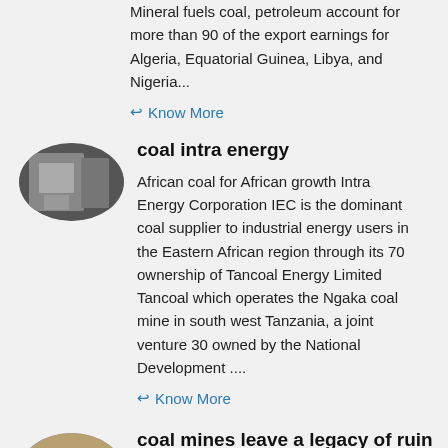Mineral fuels coal, petroleum account for more than 90 of the export earnings for Algeria, Equatorial Guinea, Libya, and Nigeria...
Know More
coal intra energy
African coal for African growth Intra Energy Corporation IEC is the dominant coal supplier to industrial energy users in the Eastern African region through its 70 ownership of Tancoal Energy Limited Tancoal which operates the Ngaka coal mine in south west Tanzania, a joint venture 30 owned by the National Development ....
Know More
coal mines leave a legacy of ruin in south africa ,